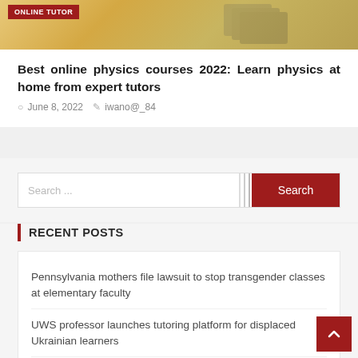[Figure (photo): Online tutor banner image with a red 'ONLINE TUTOR' badge label in top-left, warm yellow/gold toned background]
Best online physics courses 2022: Learn physics at home from expert tutors
June 8, 2022   iwano@_84
Search ...
RECENT POSTS
Pennsylvania mothers file lawsuit to stop transgender classes at elementary faculty
UWS professor launches tutoring platform for displaced Ukrainian learners
Keeping Faculties Open up All through Pandemic Aided Grandish High...